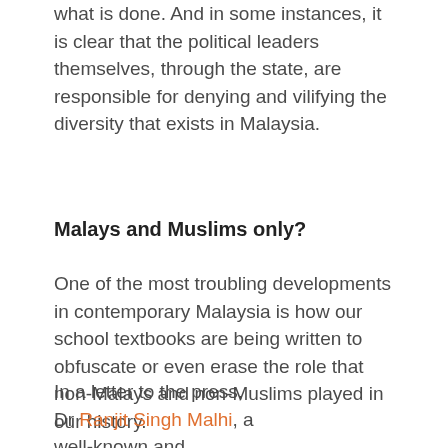what is done. And in some instances, it is clear that the political leaders themselves, through the state, are responsible for denying and vilifying the diversity that exists in Malaysia.
Malays and Muslims only?
One of the most troubling developments in contemporary Malaysia is how our school textbooks are being written to obfuscate or even erase the role that non-Malays and non-Muslims played in our history.
In a letter to the press, Dr Ranjit Singh Malhi, a well-known and experienced writer of textbooks who used to advise the Education